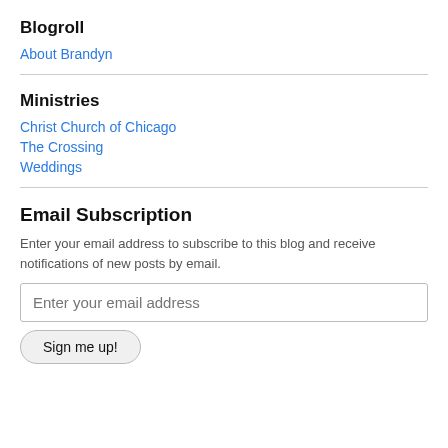Blogroll
About Brandyn
Ministries
Christ Church of Chicago
The Crossing
Weddings
Email Subscription
Enter your email address to subscribe to this blog and receive notifications of new posts by email.
Enter your email address
Sign me up!